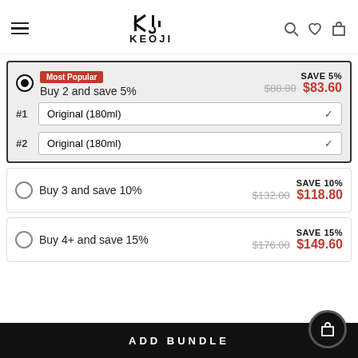[Figure (logo): Keoji brand logo with stylized KJ icon above and KEOJI text below]
Most Popular – Buy 2 and save 5% – SAVE 5% – $88.00 $83.60
#1 Original (180ml) dropdown
#2 Original (180ml) dropdown
Buy 3 and save 10% – SAVE 10% – $132.00 $118.80
Buy 4+ and save 15% – SAVE 15% – $176.00 $149.60
ADD BUNDLE